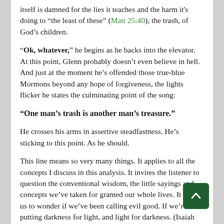itself is damned for the lies it teaches and the harm it's doing to “the least of these” (Matt 25:40), the trash, of God’s children.
“Ok, whatever,” he begins as he backs into the elevator. At this point, Glenn probably doesn’t even believe in hell. And just at the moment he’s offended those true-blue Mormons beyond any hope of forgiveness, the lights flicker he states the culminating point of the song:
“One man’s trash is another man’s treasure.”
He crosses his arms in assertive steadfastness. He’s sticking to this point. As he should.
This line means so very many things. It applies to all the concepts I discuss in this analysis. It invites the listener to question the conventional wisdom, the little sayings and concepts we’ve taken for granted our whole lives. It invites us to wonder if we’ve been calling evil good. If we’re been putting darkness for light, and light for darkness. (Isaiah